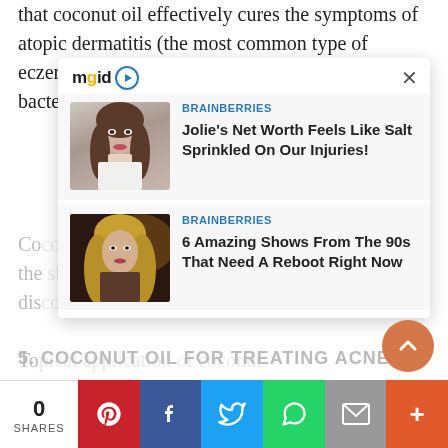that coconut oil effectively cures the symptoms of atopic dermatitis (the most common type of eczema). Its antibacterial activities help to kill off bacteria that cause infections,
[Figure (screenshot): MGID advertisement overlay showing two Brainberries articles: 'Jolie's Net Worth Feels Like Salt Sprinkled On Our Injuries!' and '6 Amazing Shows From The 90s That Need A Reboot Right Now', with a close button and MGID logo]
5. COCONUT OIL FOR TREATING ACNE
Many people use coconut oil to treat facial acne and prevent further outbreaks of spots, pimples, and
0 SHARES | Pinterest | Facebook | Twitter | WhatsApp | Email | More